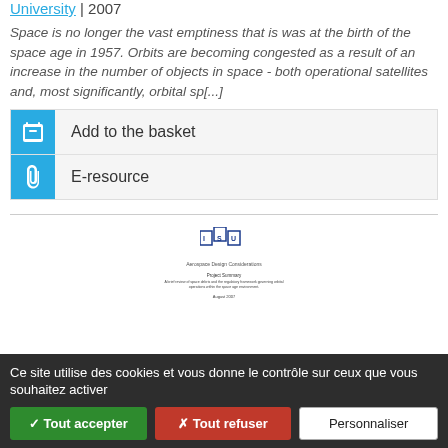University | 2007
Space is no longer the vast emptiness that is was at the birth of the space age in 1957. Orbits are becoming congested as a result of an increase in the number of objects in space - both operational satellites and, most significantly, orbital sp[...]
Add to the basket
E-resource
[Figure (other): Thumbnail of a document cover page with ISU logo and title text]
Ce site utilise des cookies et vous donne le contrôle sur ceux que vous souhaitez activer
✓ Tout accepter
✗ Tout refuser
Personnaliser